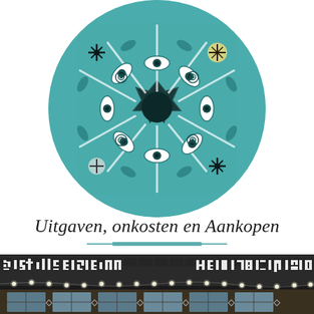[Figure (photo): Circular decorative ceramic or tile artwork viewed from above, featuring a dark star-shaped center hole surrounded by intricate symmetrical blue-teal patterns with eye-like motifs, leaf shapes, and floral/snowflake decorations on a white background.]
Uitgaven, onkosten en Aankopen
[Figure (photo): Partial photo of a building rooftop with dark tiles and white decorative cross-stitch or tile pattern text running along the roofline. String lights hang below the roofline. The bottom portion shows windows and a market or shop exterior.]